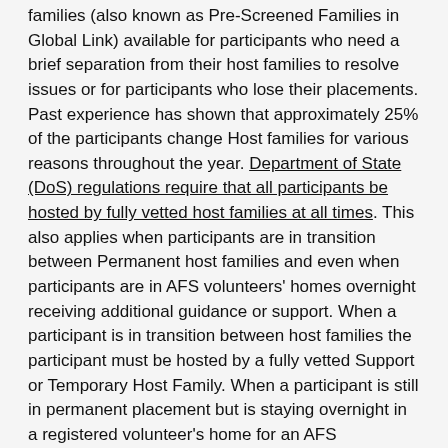families (also known as Pre-Screened Families in Global Link) available for participants who need a brief separation from their host families to resolve issues or for participants who lose their placements. Past experience has shown that approximately 25% of the participants change Host families for various reasons throughout the year. Department of State (DoS) regulations require that all participants be hosted by fully vetted host families at all times. This also applies when participants are in transition between Permanent host families and even when participants are in AFS volunteers' homes overnight receiving additional guidance or support. When a participant is in transition between host families the participant must be hosted by a fully vetted Support or Temporary Host Family. When a participant is still in permanent placement but is staying overnight in a registered volunteer's home for an AFS sponsored activity such as an orientation, other weekend event or support guidance, the volunteer needs to be also registered as an Event or Support Host Family.